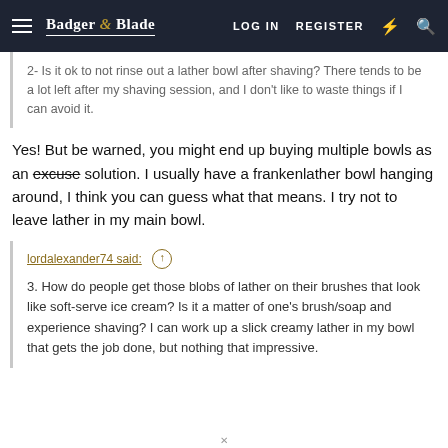Badger & Blade  LOG IN  REGISTER
2- Is it ok to not rinse out a lather bowl after shaving? There tends to be a lot left after my shaving session, and I don't like to waste things if I can avoid it.
Yes! But be warned, you might end up buying multiple bowls as an excuse solution. I usually have a frankenlather bowl hanging around, I think you can guess what that means. I try not to leave lather in my main bowl.
lordalexander74 said:
3. How do people get those blobs of lather on their brushes that look like soft-serve ice cream? Is it a matter of one's brush/soap and experience shaving? I can work up a slick creamy lather in my bowl that gets the job done, but nothing that impressive.